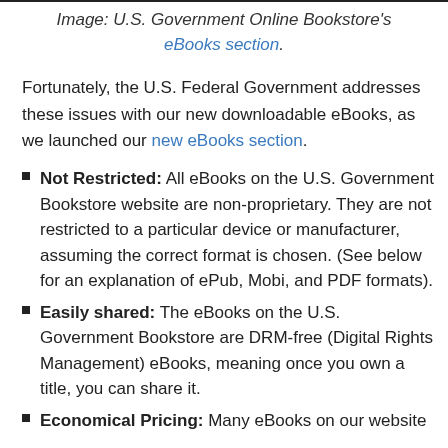Image: U.S. Government Online Bookstore's eBooks section.
Fortunately, the U.S. Federal Government addresses these issues with our new downloadable eBooks, as we launched our new eBooks section.
Not Restricted: All eBooks on the U.S. Government Bookstore website are non-proprietary. They are not restricted to a particular device or manufacturer, assuming the correct format is chosen. (See below for an explanation of ePub, Mobi, and PDF formats).
Easily shared: The eBooks on the U.S. Government Bookstore are DRM-free (Digital Rights Management) eBooks, meaning once you own a title, you can share it.
Economical Pricing: Many eBooks on our website